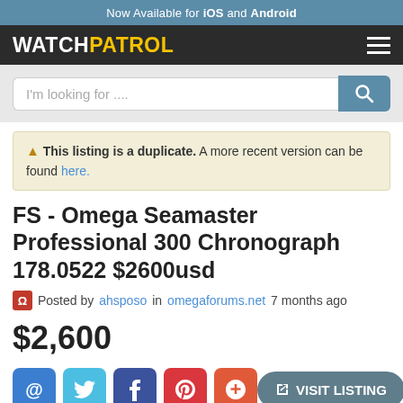Now Available for iOS and Android
[Figure (logo): WatchPatrol logo with white WATCH and yellow PATROL text on dark background, with hamburger menu icon]
[Figure (other): Search input bar with placeholder text 'I'm looking for ....' and a teal search button with magnifier icon]
⚠ This listing is a duplicate. A more recent version can be found here.
FS - Omega Seamaster Professional 300 Chronograph 178.0522 $2600usd
Posted by ahsposo in omegaforums.net 7 months ago
$2,600
Share buttons: email, twitter, facebook, pinterest, google | VISIT LISTING